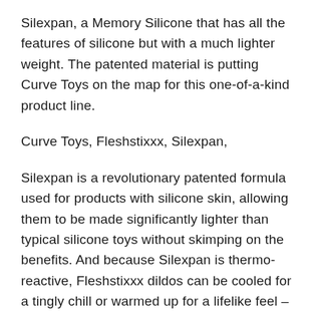Silexpan, a Memory Silicone that has all the features of silicone but with a much lighter weight. The patented material is putting Curve Toys on the map for this one-of-a-kind product line.
Curve Toys, Fleshstixxx, Silexpan,
Silexpan is a revolutionary patented formula used for products with silicone skin, allowing them to be made significantly lighter than typical silicone toys without skimping on the benefits. And because Silexpan is thermo-reactive, Fleshstixxx dildos can be cooled for a tingly chill or warmed up for a lifelike feel – the material